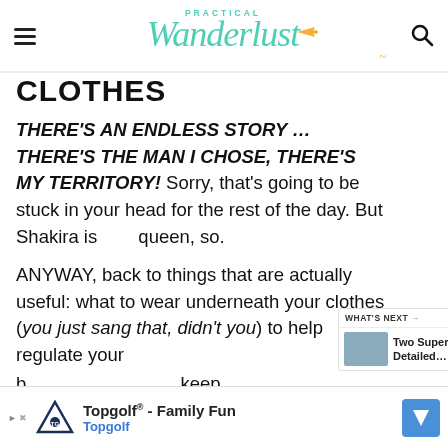Practical Wanderlust
CLOTHES
THERE'S AN ENDLESS STORY … THERE'S THE MAN I CHOSE, THERE'S MY TERRITORY! Sorry, that's going to be stuck in your head for the rest of the day. But Shakira is queen, so.

ANYWAY, back to things that are actually useful: what to wear underneath your clothes (you just sang that, didn't you) to help regulate your body temperature and keep you h…